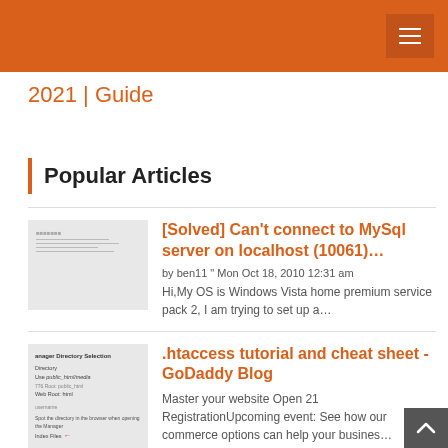2021 | Guide
Popular Articles
[Solved] Can't connect to MySql server on localhost (10061)…
by ben11 " Mon Oct 18, 2010 12:31 am Hi,My OS is Windows Vista home premium service pack 2, I am trying to set up a…
.htaccess tutorial and cheat sheet - GoDaddy Blog
Master your website Open 21 RegistrationUpcoming event: See how our commerce options can help your busines…